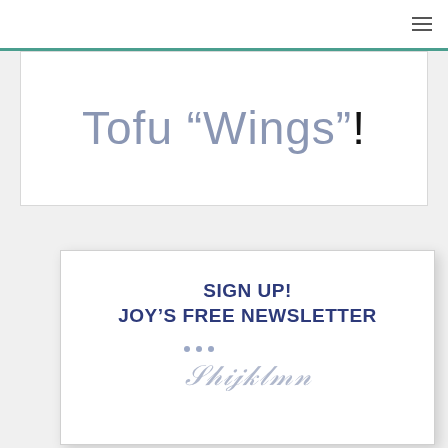≡
Tofu “Wings”!
SIGN UP! JOY'S FREE NEWSLETTER
[Figure (illustration): Decorative dots and partial cursive script preview at bottom of newsletter signup card]